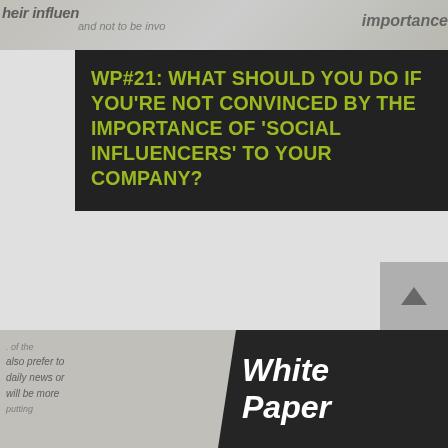[Figure (photo): Blurred background text image showing words like 'their influence', 'importance' at the top of the page]
WP#21: WHAT SHOULD YOU DO IF YOU'RE NOT CONVINCED BY THE IMPORTANCE OF 'SOCIAL INFLUENCERS' TO YOUR COMPANY?
The answer is to go back to basics. And think about how real-world influencers really impact your buyer's decision journey. Over the past three years the very concept of market influencers has [...]
READ MORE
[Figure (photo): Bottom image strip showing partial text on left ('also prefer to', 'daily news or', 'will be more', 'putting') and a dark angled banner on right showing 'White Paper']